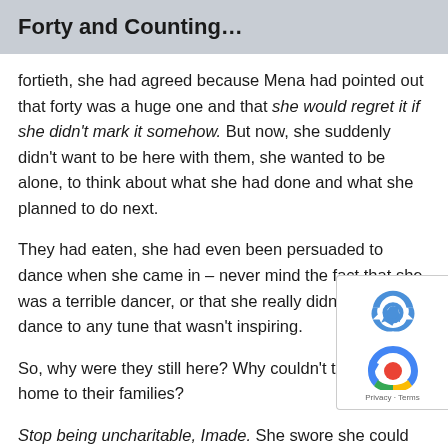Forty and Counting…
fortieth, she had agreed because Mena had pointed out that forty was a huge one and that she would regret it if she didn't mark it somehow. But now, she suddenly didn't want to be here with them, she wanted to be alone, to think about what she had done and what she planned to do next.
They had eaten, she had even been persuaded to dance when she came in – never mind the fact that she was a terrible dancer, or that she really didn't like to dance to any tune that wasn't inspiring.
So, why were they still here? Why couldn't they just go home to their families?
Stop being uncharitable, Imade. She swore she could hear